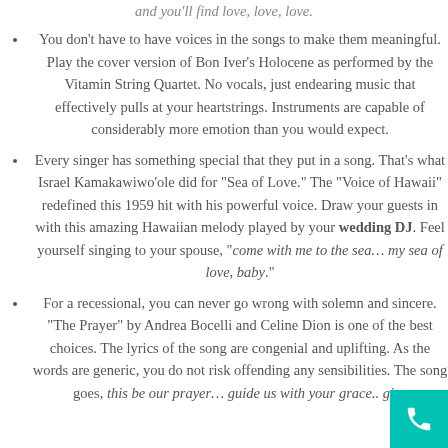and you'll find love, love, love.
You don't have to have voices in the songs to make them meaningful. Play the cover version of Bon Iver's Holocene as performed by the Vitamin String Quartet. No vocals, just endearing music that effectively pulls at your heartstrings. Instruments are capable of considerably more emotion than you would expect.
Every singer has something special that they put in a song. That's what Israel Kamakawiwo'ole did for "Sea of Love." The "Voice of Hawaii" redefined this 1959 hit with his powerful voice. Draw your guests in with this amazing Hawaiian melody played by your wedding DJ. Feel yourself singing to your spouse, "come with me to the sea... my sea of love, baby."
For a recessional, you can never go wrong with solemn and sincere. "The Prayer" by Andrea Bocelli and Celine Dion is one of the best choices. The lyrics of the song are congenial and uplifting. As the words are generic, you do not risk offending any sensibilities. The song goes, this be our prayer... guide us with your grace.. give